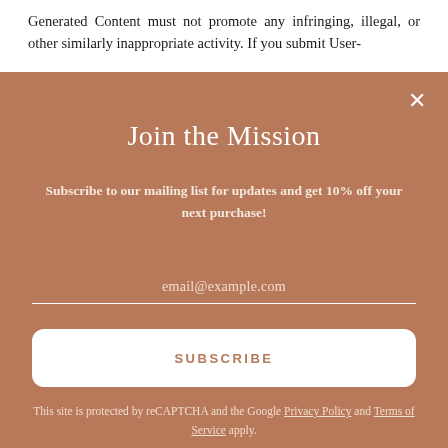Generated Content must not promote any infringing, illegal, or other similarly inappropriate activity. If you submit User-
Join the Mission
Subscribe to our mailing list for updates and get 10% off your next purchase!
email@example.com
SUBSCRIBE
This site is protected by reCAPTCHA and the Google Privacy Policy and Terms of Service apply.